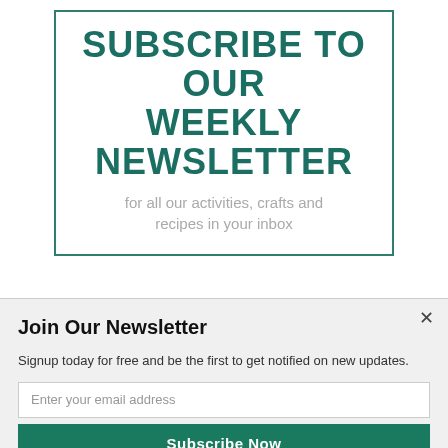SUBSCRIBE TO OUR WEEKLY NEWSLETTER
for all our activities, crafts and recipes in your inbox
Join Our Newsletter
Signup today for free and be the first to get notified on new updates.
Enter your email address
Subscribe Now